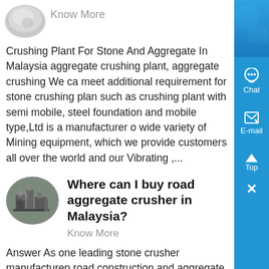[Figure (photo): Circular thumbnail image of a white powdery/rocky material, partially visible at top left]
Know More
Crushing Plant For Stone And Aggregate In Malaysia aggregate crushing plant, aggregate crushing We ca meet additional requirement for stone crushing plan such as crushing plant with semi mobile, steel foundation and mobile type,Ltd is a manufacturer o wide variety of Mining equipment, which we provide customers all over the world and our Vibrating ,...
[Figure (photo): Oval/circular thumbnail image of an industrial aggregate crusher plant facility]
Where can I buy road aggregate crusher in Malaysia?
Know More
Answer As one leading stone crusher manufacturер road construction and aggregate crushing plant, Gre Wall Company produce the series of stone jaw crush